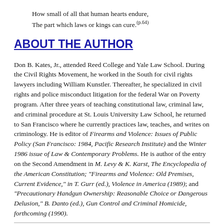How small of all that human hearts endure,
The part which laws or kings can cure.(p.64)
ABOUT THE AUTHOR
Don B. Kates, Jr., attended Reed College and Yale Law School. During the Civil Rights Movement, he worked in the South for civil rights lawyers including William Kunstler. Thereafter, he specialized in civil rights and police misconduct litigation for the federal War on Poverty program. After three years of teaching constitutional law, criminal law, and criminal procedure at St. Louis University Law School, he returned to San Francisco where he currently practices law, teaches, and writes on criminology. He is editor of Firearms and Violence: Issues of Public Policy (San Francisco: 1984, Pacific Research Institute) and the Winter 1986 issue of Law & Contemporary Problems. He is author of the entry on the Second Amendment in M. Levy & K. Karst, The Encyclopedia of the American Constitution; "Firearms and Violence: Old Premises, Current Evidence," in T. Gurr (ed.), Violence in America (1989); and "Precautionary Handgun Ownership: Reasonable Choice or Dangerous Delusion," B. Danto (ed.), Gun Control and Criminal Homicide, forthcoming (1990).